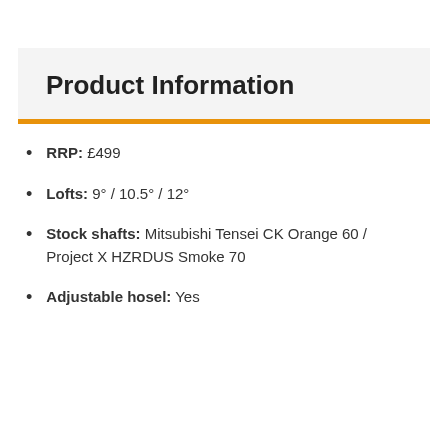Product Information
RRP: £499
Lofts: 9° / 10.5° / 12°
Stock shafts: Mitsubishi Tensei CK Orange 60 / Project X HZRDUS Smoke 70
Adjustable hosel: Yes